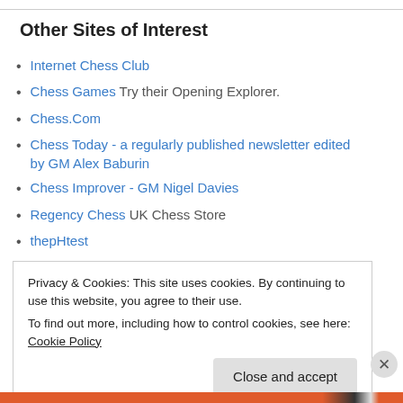Other Sites of Interest
Internet Chess Club
Chess Games Try their Opening Explorer.
Chess.Com
Chess Today - a regularly published newsletter edited by GM Alex Baburin
Chess Improver - GM Nigel Davies
Regency Chess UK Chess Store
thepHtest
Dennis Monokroussoss blog
The Kenilworthian by Michael Goeller
Privacy & Cookies: This site uses cookies. By continuing to use this website, you agree to their use.
To find out more, including how to control cookies, see here: Cookie Policy